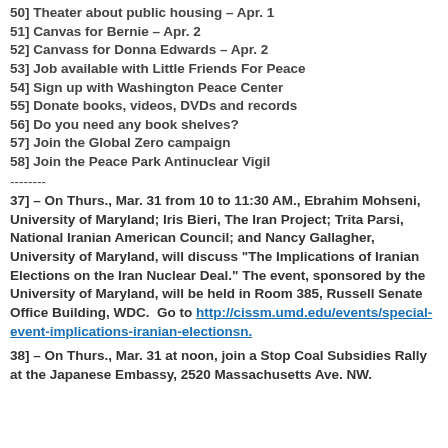50] Theater about public housing – Apr. 1
51] Canvas for Bernie – Apr. 2
52] Canvass for Donna Edwards – Apr. 2
53] Job available with Little Friends For Peace
54] Sign up with Washington Peace Center
55] Donate books, videos, DVDs and records
56] Do you need any book shelves?
57] Join the Global Zero campaign
58] Join the Peace Park Antinuclear Vigil
--------
37] – On Thurs., Mar. 31 from 10 to 11:30 AM., Ebrahim Mohseni, University of Maryland; Iris Bieri, The Iran Project; Trita Parsi, National Iranian American Council; and Nancy Gallagher, University of Maryland, will discuss "The Implications of Iranian Elections on the Iran Nuclear Deal." The event, sponsored by the University of Maryland, will be held in Room 385, Russell Senate Office Building, WDC.  Go to http://cissm.umd.edu/events/special-event-implications-iranian-electionsn.
38] – On Thurs., Mar. 31 at noon, join a Stop Coal Subsidies Rally at the Japanese Embassy, 2520 Massachusetts Ave. NW.